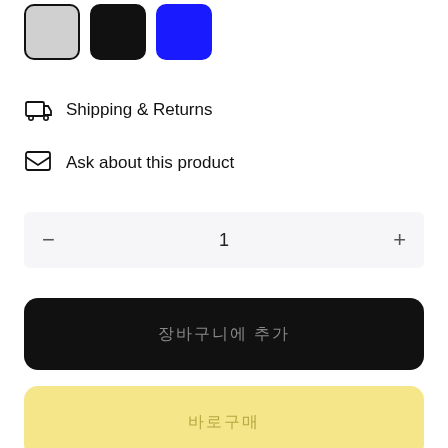[Figure (other): Three color swatches: gray (selected with border), black, and blue]
Shipping & Returns
Ask about this product
1 (quantity selector with minus and plus buttons)
장바구니에 추가 (Add to cart button, black)
바로구매 (Buy now button, yellow)
위시리스트  비교하기